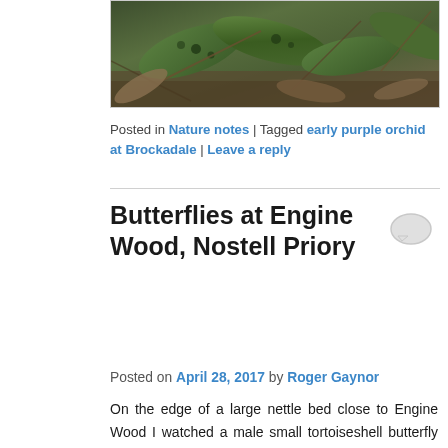[Figure (photo): Photograph of plants/leaves on forest floor, partially visible at top of page]
Posted in Nature notes | Tagged early purple orchid at Brockadale | Leave a reply
Butterflies at Engine Wood, Nostell Priory
Posted on April 28, 2017 by Roger Gaynor
On the edge of a large nettle bed close to Engine Wood I watched a male small tortoiseshell butterfly establish a courtship territory. It was basking in the morning sunshine and suddenly taking flight high into the sky to investigate every passing small tortoiseshell butterfly.  Other males were chased away before eventually, a female was attracted back to the nettle bed where I managed to take the image below. It appears mating takes place well inside